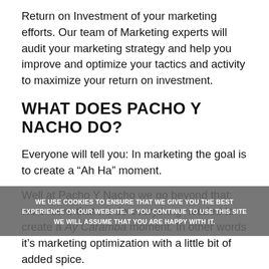Return on Investment of your marketing efforts. Our team of Marketing experts will audit your marketing strategy and help you improve and optimize your tactics and activity to maximize your return on investment.
WHAT DOES PACHO Y NACHO DO?
Everyone will tell you: In marketing the goal is to create a “Ah Ha” moment.
Well at Pacho Y Nacho we go beyond that: we ensure that we do everything needed to create a Ay Caramba moment. In other words it’s marketing optimization with a little bit of added spice.
Our teams specialize in Search Engine Optimization, Conversion optimization, Marketing automation, Martech audits, Growth marketing strategy and
WE USE COOKIES TO ENSURE THAT WE GIVE YOU THE BEST EXPERIENCE ON OUR WEBSITE. IF YOU CONTINUE TO USE THIS SITE WE WILL ASSUME THAT YOU ARE HAPPY WITH IT.